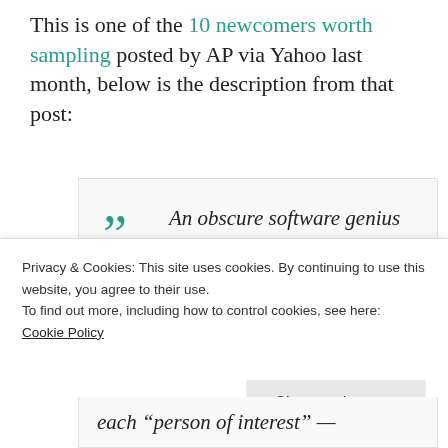This is one of the 10 newcomers worth sampling posted by AP via Yahoo last month, below is the description from that post:
An obscure software genius and an ex-CIA agent believed to be dead: This is the duo who dedicate themselves to preventing bad things from happening — even without knowing what the bad each "person of interest" —
Privacy & Cookies: This site uses cookies. By continuing to use this website, you agree to their use.
To find out more, including how to control cookies, see here: Cookie Policy
Close and accept